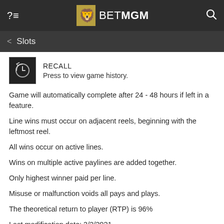BetMGM — Slots
[Figure (logo): BetMGM logo with lion icon]
RECALL
Press to view game history.
Game will automatically complete after 24 - 48 hours if left in a feature.
Line wins must occur on adjacent reels, beginning with the leftmost reel.
All wins occur on active lines.
Wins on multiple active paylines are added together.
Only highest winner paid per line.
Misuse or malfunction voids all pays and plays.
The theoretical return to player (RTP) is 96%
Last modification date: 2/2/2021